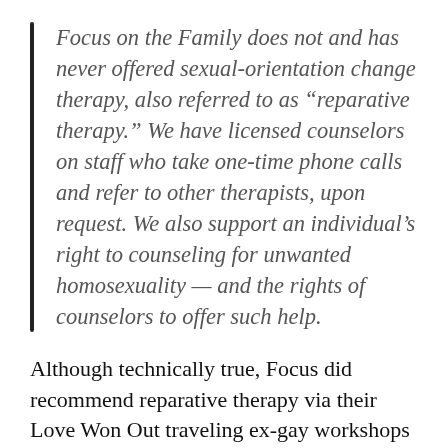Focus on the Family does not and has never offered sexual-orientation change therapy, also referred to as “reparative therapy.” We have licensed counselors on staff who take one-time phone calls and refer to other therapists, upon request. We also support an individual’s right to counseling for unwanted homosexuality — and the rights of counselors to offer such help.
Although technically true, Focus did recommend reparative therapy via their Love Won Out traveling ex-gay workshops from the late 1990s into the late 2000s. Reparative